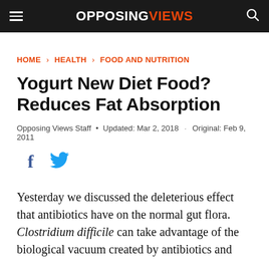OPPOSING VIEWS
HOME › HEALTH › FOOD AND NUTRITION
Yogurt New Diet Food? Reduces Fat Absorption
Opposing Views Staff • Updated: Mar 2, 2018 · Original: Feb 9, 2011
Yesterday we discussed the deleterious effect that antibiotics have on the normal gut flora. Clostridium difficile can take advantage of the biological vacuum created by antibiotics and